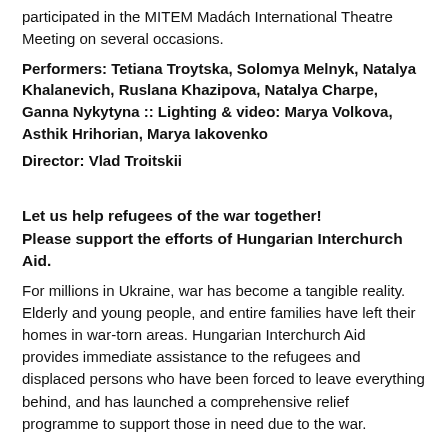participated in the MITEM Madách International Theatre Meeting on several occasions.
Performers: Tetiana Troytska, Solomya Melnyk, Natalya Khalanevich, Ruslana Khazipova, Natalya Charpe, Ganna Nykytyna :: Lighting & video: Marya Volkova, Asthik Hrihorian, Marya Iakovenko
Director: Vlad Troitskii
Let us help refugees of the war together!
Please support the efforts of Hungarian Interchurch Aid.
For millions in Ukraine, war has become a tangible reality. Elderly and young people, and entire families have left their homes in war-torn areas. Hungarian Interchurch Aid provides immediate assistance to the refugees and displaced persons who have been forced to leave everything behind, and has launched a comprehensive relief programme to support those in need due to the war.